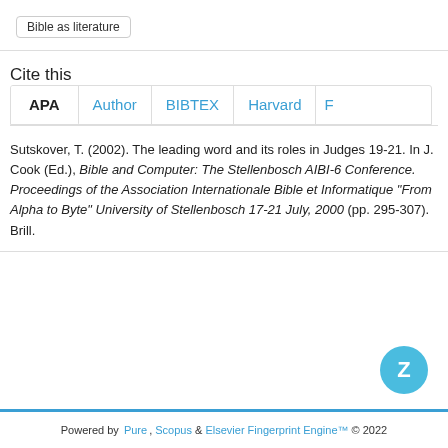Bible as literature
Cite this
APA  Author  BIBTEX  Harvard  F
Sutskover, T. (2002). The leading word and its roles in Judges 19-21. In J. Cook (Ed.), Bible and Computer: The Stellenbosch AIBI-6 Conference. Proceedings of the Association Internationale Bible et Informatique "From Alpha to Byte" University of Stellenbosch 17-21 July, 2000 (pp. 295-307). Brill.
Powered by Pure, Scopus & Elsevier Fingerprint Engine™ © 2022